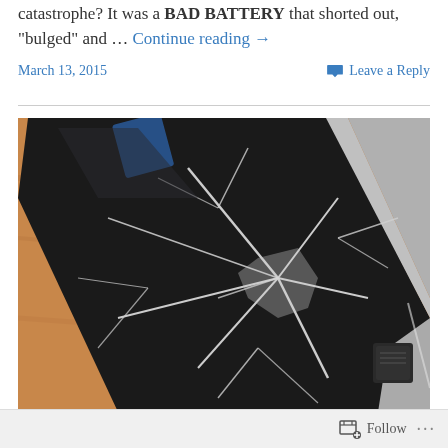catastrophe? It was a BAD BATTERY that shorted out, "bulged" and … Continue reading →
March 13, 2015    Leave a Reply
[Figure (photo): A tablet or smartphone with a severely cracked and shattered screen, lying on a wooden surface. The device appears to have been damaged by a bulging battery causing the screen to break apart.]
Follow ···